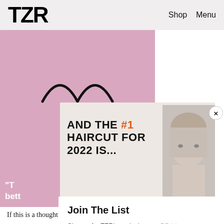TZR   Shop   Menu
[Figure (screenshot): TZR website screenshot showing navigation bar with TZR logo, Shop and Menu links, a pink background section with glasses icon, a promotional card reading AND THE #1 HAIRCUT FOR 2022 IS... with a woman's face, a close button X, and a Join The List email signup modal with Email address input and Subscribe button]
AND THE #1 HAIRCUT FOR 2022 IS...
Join The List
Sign up for TZR's exclusive email list to uncover this season's top trends
"T bett
If this is a thought you have to have, you are in the